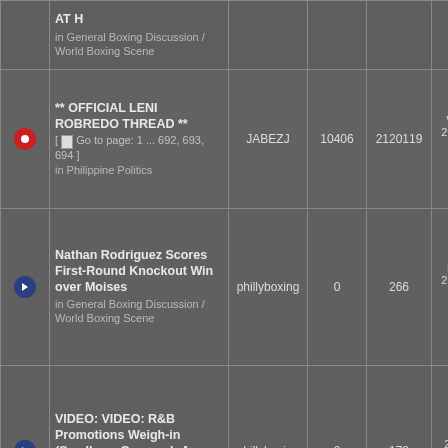|  | Topic | Author | Replies | Views | Last Post |
| --- | --- | --- | --- | --- | --- |
|  | AT H
in General Boxing Discussion / World Boxing Scene |  |  |  |  |
| [red dot] | ** OFFICIAL LENI ROBREDO THREAD **
[ Go to page: 1 ... 692, 693, 694 ]
in Philippine Politics | JABEZJ | 10406 | 2120119 | Wed Aug 31, 2022 12:14 am
don robert |
| [blue dot] | Nathan Rodriguez Scores First-Round Knockout Win over Moises
in General Boxing Discussion / World Boxing Scene | phillyboxing | 0 | 266 | Mon Aug 29, 2022 10:48 am
phillyboxing |
| [blue dot] | VIDEO: VIDEO: R&B Promotions Weigh-in (Smalls vs Guevara), A
in General Boxing Discussion / World Boxing Scene | phillyboxing | 0 | 178 | Sun Aug 28, 2022 1:58 pm
phillyboxing |
|  | Weights from Gordon, New ... |  |  |  |  |